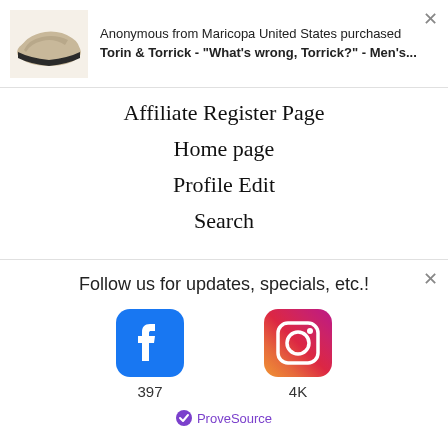[Figure (screenshot): Notification popup: shoe product image on left, text 'Anonymous from Maricopa United States purchased' and bold 'Torin & Torrick - "What's wrong, Torrick?" - Men's...' on right, with X close button]
Affiliate Register Page
Home page
Profile Edit
Search
[Figure (illustration): Green circle button with white star icon]
Contact Us
Privacy Policy
Follow us for updates, specials, etc.!
[Figure (infographic): Facebook icon with count 397 and Instagram icon with count 4K, with ProveSource branding at bottom]